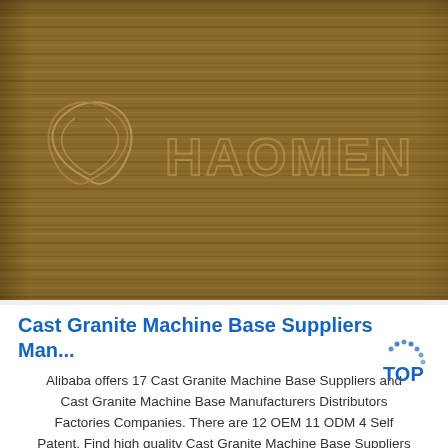[Figure (photo): Close-up photo of a wood-grain textured surface (possibly cast granite or wood panel) with an embossed/engraved logo reading 'HAOMEN' with a leaf/wing graphic emblem on the left side. The surface is brown with horizontal grain lines.]
Cast Granite Machine Base Suppliers Man...
Alibaba offers 17 Cast Granite Machine Base Suppliers and Cast Granite Machine Base Manufacturers Distributors Factories Companies. There are 12 OEM 11 ODM 4 Self Patent. Find high quality Cast Granite Machine Base Suppliers